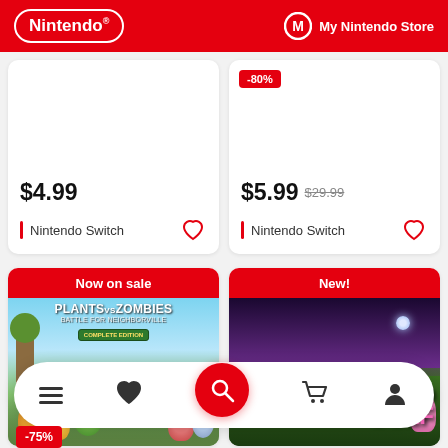Nintendo | My Nintendo Store
$4.99 | Nintendo Switch
$5.99 $29.99 -80% | Nintendo Switch
[Figure (screenshot): Plants vs Zombies: Battle for Neighborville Complete Edition game card with 'Now on sale' banner]
[Figure (screenshot): Cursed to Golf game card with 'New!' banner]
-75%